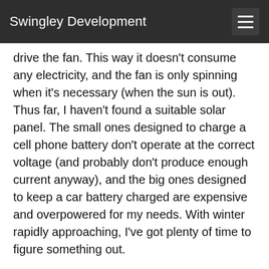Swingley Development
drive the fan. This way it doesn’t consume any electricity, and the fan is only spinning when it’s necessary (when the sun is out). Thus far, I haven’t found a suitable solar panel. The small ones designed to charge a cell phone battery don’t operate at the correct voltage (and probably don’t produce enough current anyway), and the big ones designed to keep a car battery charged are expensive and overpowered for my needs. With winter rapidly approaching, I’ve got plenty of time to figure something out.
The pipe is a piece of 4” sewer pipe that’s been spray painted white and has a series of holes drilled into the bottom. The fan pulls air up through these holes and over the sensor array in the middle. If I